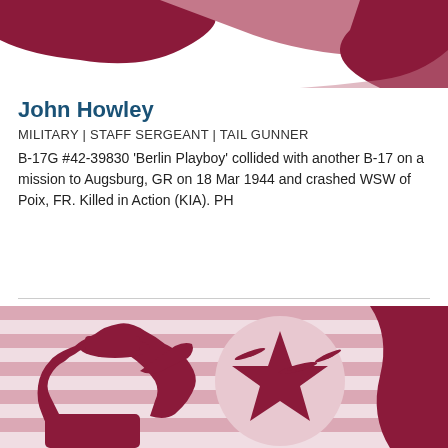[Figure (illustration): Decorative header illustration with dark crimson/maroon wavy shapes on white background, top portion of military memorial graphic]
John Howley
MILITARY | STAFF SERGEANT | TAIL GUNNER
B-17G #42-39830 'Berlin Playboy' collided with another B-17 on a mission to Augsburg, GR on 18 Mar 1944 and crashed WSW of Poix, FR. Killed in Action (KIA). PH
[Figure (illustration): Military memorial illustration showing silhouette of a saluting soldier against stylized American flag with horizontal stripes and star, with B-17 bomber aircraft silhouettes flying overhead, in dark crimson and muted pink/grey tones]